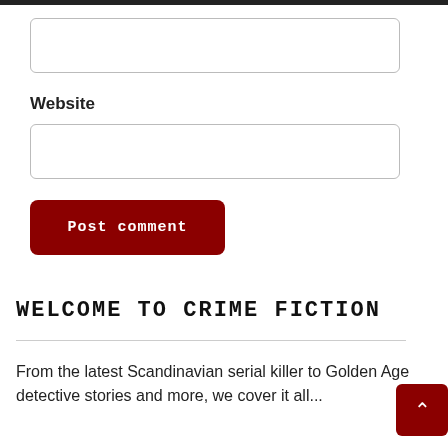[Figure (screenshot): Empty input text box (top, no label)]
Website
[Figure (screenshot): Empty input text box for Website field]
[Figure (screenshot): Post comment button — dark red rounded rectangle with white monospace text]
WELCOME TO CRIME FICTION LOVER
From the latest Scandinavian serial killer to Golden Age detective stories and more, we cover it all...